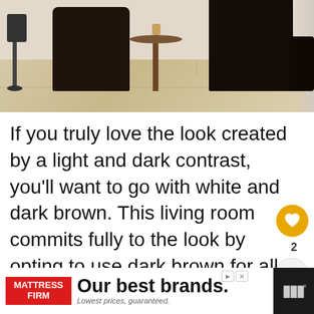[Figure (photo): Interior photo of a living room with dark brown chairs, a round wooden side table, a floor lamp on the left, and light wood flooring. High contrast between the dark furniture and light floor.]
If you truly love the look created by a light and dark contrast, you'll want to go with white and dark brown. This living room commits fully to the look by opting to use dark brown for all the furniture pieces, from the chairs to the side table, and the entertainment console.
[Figure (infographic): Like/heart button (gold circle with heart icon) with count of 2, and a share button below it.]
[Figure (infographic): What's Next panel showing thumbnail and text: 'Does Blue Go With Brown...']
[Figure (infographic): Advertisement banner for Mattress Firm: 'Our best brands. Lowest prices, guaranteed.']